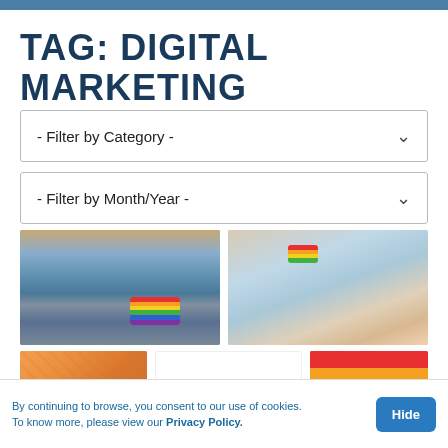TAG: DIGITAL MARKETING
- Filter by Category -
- Filter by Month/Year -
[Figure (photo): Two photos in top row: left shows a person's waist with jeans and a rainbow flag painted on hand; right shows raised arms with rainbow wristband at a pride event crowd.]
[Figure (photo): Three photos in bottom row: left shows two people holding hands in front of rainbow flag; center shows a 'Celebrate PRIDE' graphic with colorful letters; right shows rainbow pride flag fabric.]
By continuing to browse, you consent to our use of cookies. To know more, please view our Privacy Policy.